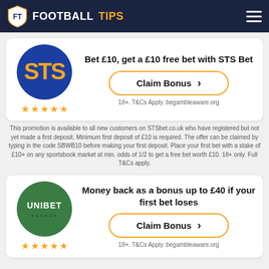FOOTBALL TIPS
[Figure (logo): STS Bet logo — blue circle with orange STS letters and star rating below]
Bet £10, get a £10 free bet with STS Bet
Claim Bonus
18+. T&Cs Apply. begambleaware.org
This promotion is available to all new customers on STSbet.co.uk who have registered but not yet made a first deposit. Minimum first deposit of £10 is required. The offer can be claimed by typing in the code SBWB10 before making your first deposit. Place your first bet with a stake of £10+ on any sportsbook market at min. odds of 1/2 to get a free bet worth £10. 18+ only. Full T&Cs apply.
[Figure (logo): Unibet logo — green circle with white UNIBET text and star rating below]
Money back as a bonus up to £40 if your first bet loses
Claim Bonus
18+. T&Cs Apply. begambleaware.org